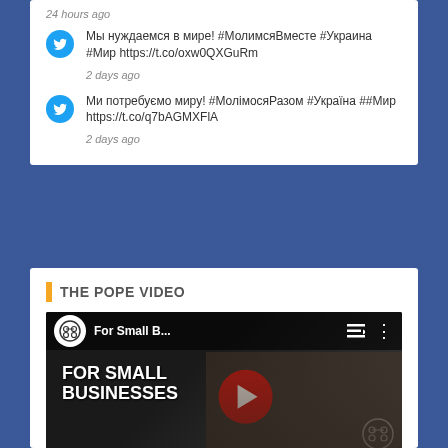24 hours ago
Мы нуждаемся в мире! #МолимсяВместе #Украина #Мир https://t.co/oxw0QXGuRm
2 days ago
Ми потребуємо миру! #МолімосяРазом #Україна ##Мир https://t.co/q7bAGMXFlA
2 days ago
THE POPE VIDEO
[Figure (screenshot): YouTube video thumbnail showing 'For Small B...' with a red play button and text FOR SMALL BUSINESSES on a dark background]